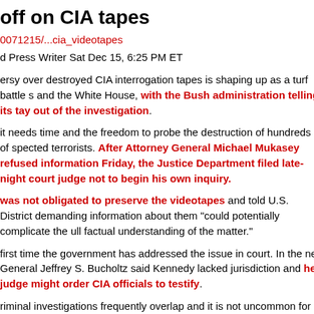off on CIA tapes
0071215/...cia_videotapes
d Press Writer Sat Dec 15, 6:25 PM ET
ersy over destroyed CIA interrogation tapes is shaping up as a turf battle s and the White House, with the Bush administration telling its tay out of the investigation.
it needs time and the freedom to probe the destruction of hundreds of spected terrorists. After Attorney General Michael Mukasey refused information Friday, the Justice Department filed late-night court judge not to begin his own inquiry.
was not obligated to preserve the videotapes and told U.S. District demanding information about them "could potentially complicate the ull factual understanding of the matter."
first time the government has addressed the issue in court. In the ney General Jeffrey S. Bucholtz said Kennedy lacked jurisdiction and he judge might order CIA officials to testify.
riminal investigations frequently overlap and it is not uncommon for the ymakers to ease off. The request for the court to stand down is more sly even the suggestion that evidence was destroyed, but they also are debates.
to Mukasey, a former judge who was only recently took over as the